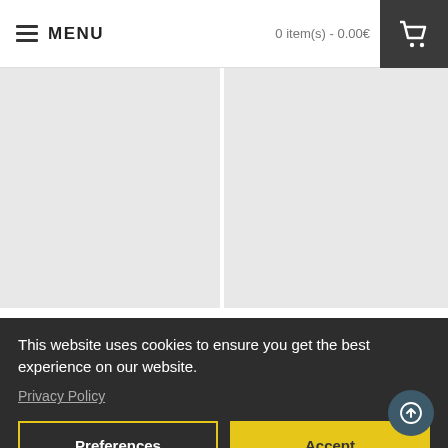MENU   0 item(s) - 0.00€
Mini Epics: LOTR #17 – Me...
35.90€
Mini Epics: LOTR #18 – Pi...
35.90€
This website uses cookies to ensure you get the best experience on our website.
Privacy Policy
Preferences
Accept